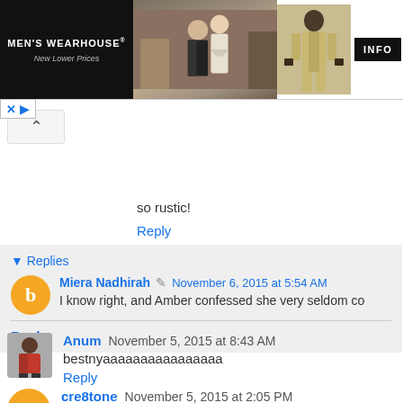[Figure (photo): Men's Wearhouse advertisement banner with couple in formal wear and man in tan suit, INFO button]
so rustic!
Reply
Replies
Miera Nadhirah November 6, 2015 at 5:54 AM
I know right, and Amber confessed she very seldom coo
Reply
Anum November 5, 2015 at 8:43 AM
bestnyaaaaaaaaaaaaaaaa
Reply
cre8tone November 5, 2015 at 2:05 PM